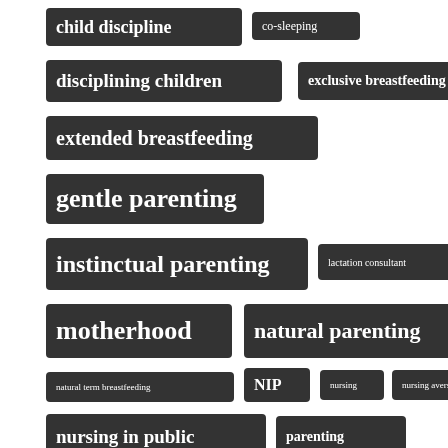[Figure (other): Tag cloud of parenting-related keywords displayed as dark rounded rectangle badges with white text, varying in font size to indicate frequency/importance. Tags include: child discipline, co-sleeping, disciplining children, exclusive breastfeeding, extended breastfeeding, gentle parenting, instinctual parenting, lactation consultant, motherhood, natural parenting, natural term breastfeeding, NIP, nursing, nursing aversion, nursing in public, parenting, parenting advice, parenting blog, parenting challenges, parenting skills]